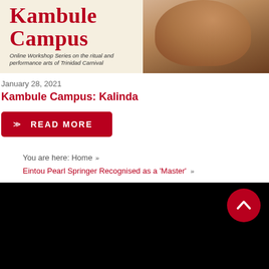[Figure (illustration): Kambule Campus banner image with large red bold title text 'Kambule Campus', subtitle 'Online Workshop Series on the ritual and performance arts of Trinidad Carnival', session label 'SESSION 7 : KALINDA', partially visible date text at bottom, and a photo of a person's face/shoulder on the right side with warm brown tones.]
January 28, 2021
Kambule Campus: Kalinda
READ MORE
You are here: Home » Eintou Pearl Springer Recognised as a 'Master' »
[Figure (other): Black footer area with a red circular scroll-to-top button with an upward chevron arrow icon in the top-right corner.]